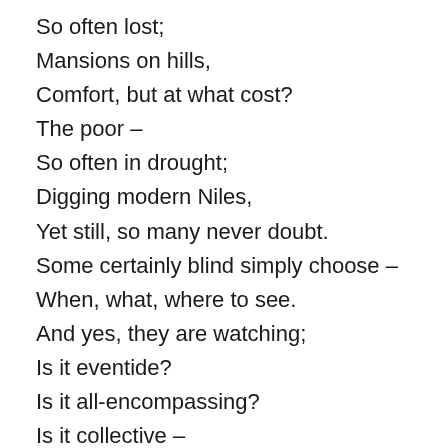So often lost;
Mansions on hills,
Comfort, but at what cost?
The poor –
So often in drought;
Digging modern Niles,
Yet still, so many never doubt.
Some certainly blind simply choose –
When, what, where to see.
And yes, they are watching;
Is it eventide?
Is it all-encompassing?
Is it collective –
Overall?
Do the little ones have questions,
Voices,